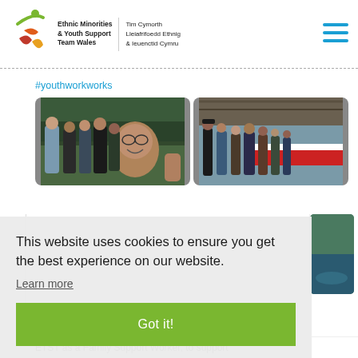Ethnic Minorities & Youth Support Team Wales | Tim Cymorth Lleiafrifoedd Ethnig & Ieuenctid Cymru
#youthworkworks
[Figure (photo): Group selfie photo of young people outdoors]
[Figure (photo): Group of young people on a boat or covered walkway]
This website uses cookies to ensure you get the best experience on our website.
Learn more
Got it!
ETST as a Family Support Worker, to support